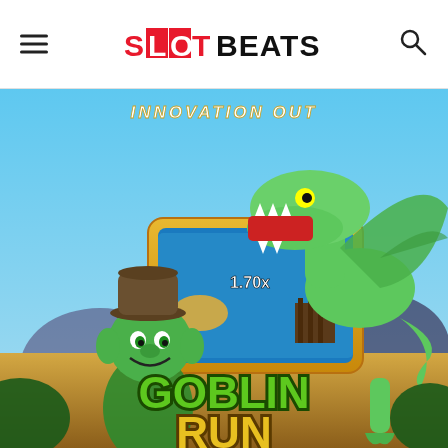SLOTBEATS
[Figure (screenshot): Goblin Run slot game promotional banner showing a cartoon goblin character with a hat smiling, a green dragon creature with open mouth, and a mobile phone displaying the game with '1.70x' multiplier shown. The game title 'GOBLIN RUN' appears at the bottom in large green and yellow 3D letters. Text at top reads 'INNOVATION OUT'.]